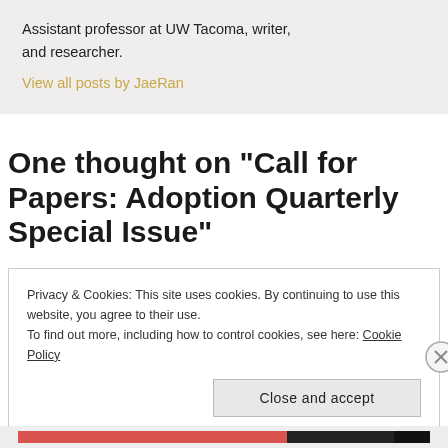Assistant professor at UW Tacoma, writer, and researcher.
View all posts by JaeRan
One thought on “Call for Papers: Adoption Quarterly Special Issue”
Privacy & Cookies: This site uses cookies. By continuing to use this website, you agree to their use.
To find out more, including how to control cookies, see here: Cookie Policy
Close and accept